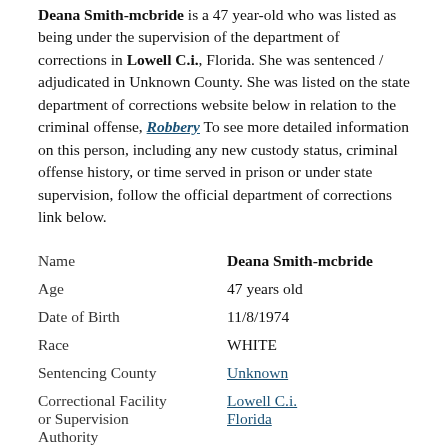Deana Smith-mcbride is a 47 year-old who was listed as being under the supervision of the department of corrections in Lowell C.i., Florida. She was sentenced / adjudicated in Unknown County. She was listed on the state department of corrections website below in relation to the criminal offense, Robbery To see more detailed information on this person, including any new custody status, criminal offense history, or time served in prison or under state supervision, follow the official department of corrections link below.
| Name | Deana Smith-mcbride |
| Age | 47 years old |
| Date of Birth | 11/8/1974 |
| Race | WHITE |
| Sentencing County | Unknown |
| Correctional Facility or Supervision Authority | Lowell C.i.
Florida |